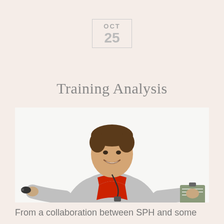OCT
25
Training Analysis
[Figure (photo): A smiling young male trainer in a grey hoodie and red polo shirt, holding a whistle in one hand and a clipboard in the other, on a white background.]
From a collaboration between SPH and some